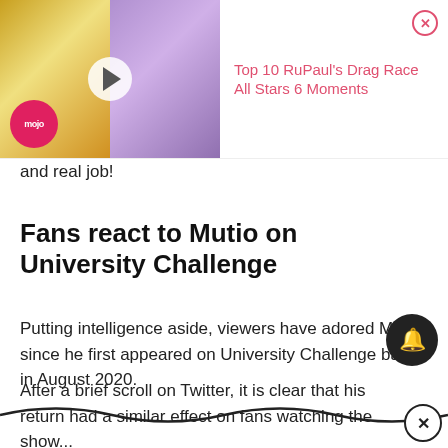[Figure (screenshot): Video ad thumbnail showing two people, with WatchMojo logo, play button overlay, and pink title text 'Top 10 RuPaul's Drag Race All Stars 6 Moments' with close button]
and real job!
Fans react to Mutio on University Challenge
Putting intelligence aside, viewers have adored Mutio since he first appeared on University Challenge back in August 2020.
After a brief scroll on Twitter, it is clear that his return had a similar effect on fans watching the show...